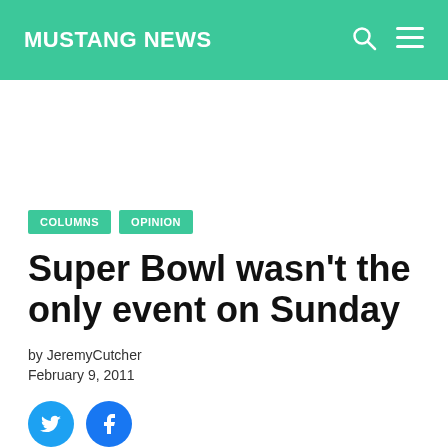MUSTANG NEWS
COLUMNS  OPINION
Super Bowl wasn't the only event on Sunday
by JeremyCutcher
February 9, 2011